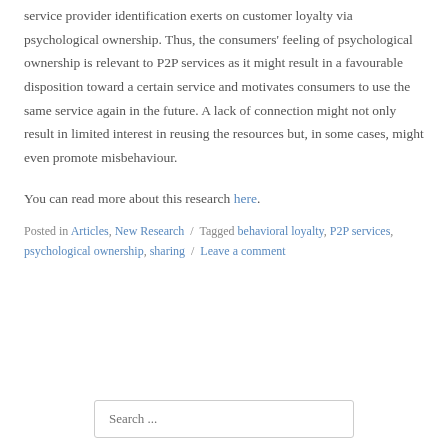service provider identification exerts on customer loyalty via psychological ownership. Thus, the consumers' feeling of psychological ownership is relevant to P2P services as it might result in a favourable disposition toward a certain service and motivates consumers to use the same service again in the future. A lack of connection might not only result in limited interest in reusing the resources but, in some cases, might even promote misbehaviour.
You can read more about this research here.
Posted in Articles, New Research / Tagged behavioral loyalty, P2P services, psychological ownership, sharing / Leave a comment
Search ...